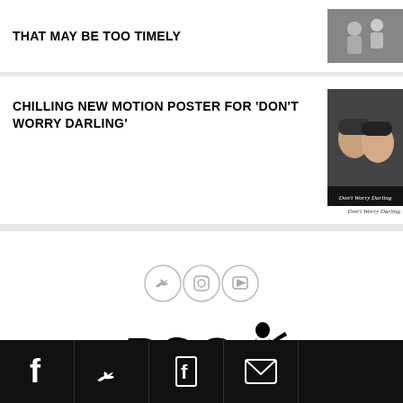THAT MAY BE TOO TIMELY
[Figure (photo): Thumbnail photo for article about something timely]
CHILLING NEW MOTION POSTER FOR ‘DON’T WORRY DARLING’
[Figure (photo): Movie poster for Don't Worry Darling showing two people close together]
Don't Worry Darling
[Figure (logo): Social media icons: Twitter, Instagram, YouTube in circles]
[Figure (logo): POC Culture logo with fist and superhero figure]
Share bar with Facebook, Twitter, Flipboard, and Email icons